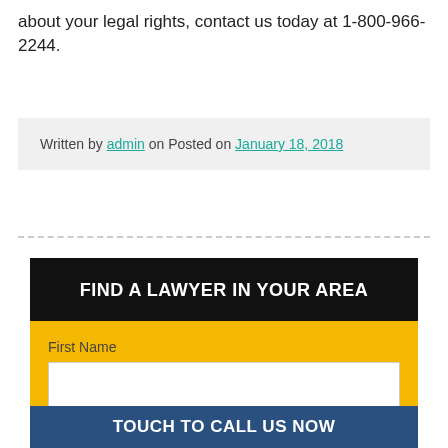about your legal rights, contact us today at 1-800-966-2244.
Written by admin on Posted on January 18, 2018
[Figure (infographic): Find a Lawyer in Your Area widget with black header, yellow background, First Name field, Last Name field, and Touch to Call Us Now bar at bottom]